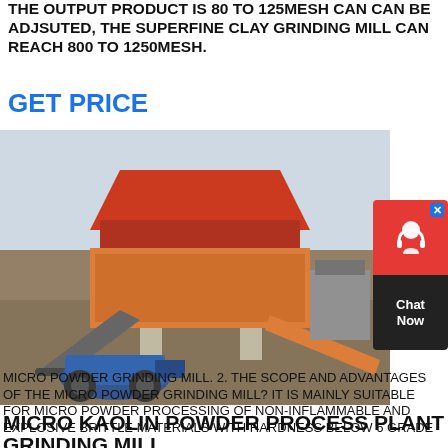THE OUTPUT PRODUCT IS 80 TO 125MESH CAN CAN BE ADJSUTED, THE SUPERFINE CLAY GRINDING MILL CAN REACH 800 TO 1250MESH.
GET PRICE
[Figure (photo): Outdoor industrial grinding/processing plant with red hopper structure on concrete pillars, conveyor belts, orange machinery, and a blue wheel loader in foreground, set on a dusty construction site.]
[Figure (illustration): Chat Now widget — red top section with headset/person icon, dark bottom section with 'Chat Now' text, and a blue X close button.]
MICRO KAOLIN POWDER PROCESS PLANT GRINDING MILL
MICRO POWDER GRINDING MILL. 2. THE SCOPE AND ADVANTAGES OF THE MICRO POWDER GRINDING MILL? IT IS MAINLY SUITABLE FOR MICRO POWDER PROCESSING OF NON-INFLAMMABLE AND EXPLOSIVE BRITTLE MATERIALS WITH HARDNESS BELOW 6 GRADE